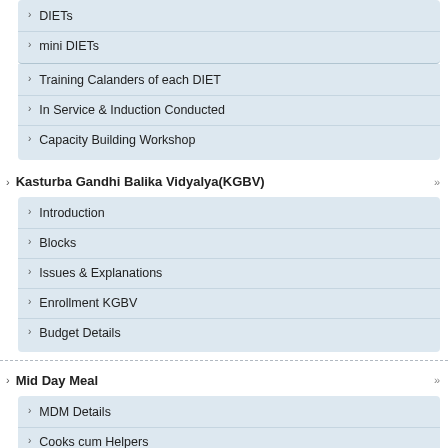DIETs
mini DIETs
Training Calanders of each DIET
In Service & Induction Conducted
Capacity Building Workshop
Kasturba Gandhi Balika Vidyalya(KGBV)
Introduction
Blocks
Issues & Explanations
Enrollment KGBV
Budget Details
Mid Day Meal
MDM Details
Cooks cum Helpers